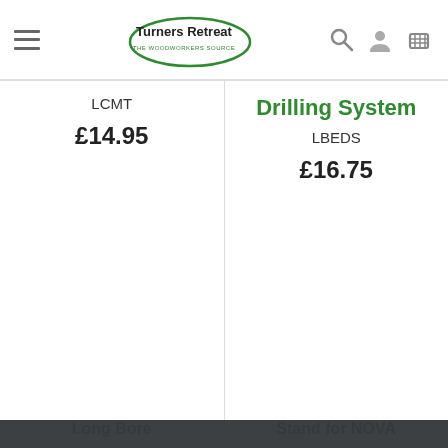Turners Retreat – THE WOODWORKERS SOURCE
LCMT
£14.95
Drilling System
LBEDS
£16.75
Cookies are used to improve your experience on our Website and to show you personalised content. You can opt out of non-essential Cookies by clicking here.
ACCEPT AND CLOSE
Long Bore
Stand for NOVA